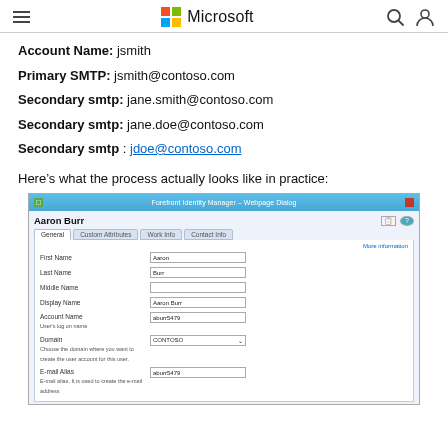Microsoft
Account Name: jsmith
Primary SMTP: jsmith@contoso.com
Secondary smtp: jane.smith@contoso.com
Secondary smtp: jane.doe@contoso.com
Secondary smtp : jdoe@contoso.com
Here’s what the process actually looks like in practice:
[Figure (screenshot): Screenshot of Forefront Identity Manager Webpage Dialog showing a user record for Aaron Burr with fields: First Name (Aaron), Last Name (Burr), Middle Name (empty), Display Name (Aaron Burr), Account Name (aburr5479) User's log on name, Domain (CONTOSO dropdown), E-mail Alias (aburr5479). Tabs visible: General, Custom Attributes, Work Info, Contact Info.]